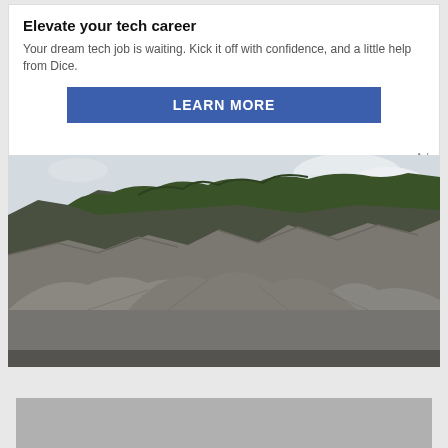Elevate your tech career
Your dream tech job is waiting. Kick it off with confidence, and a little help from Dice.
LEARN MORE
[Figure (photo): Outdoor photograph of a rocky quarry landscape with grey gravel mounds in the foreground and steep eroded cliffs topped with green vegetation against a cloudy sky.]
[Figure (illustration): Geometric hexagon/cube pattern in grey and white tones forming a repeating tessellation.]